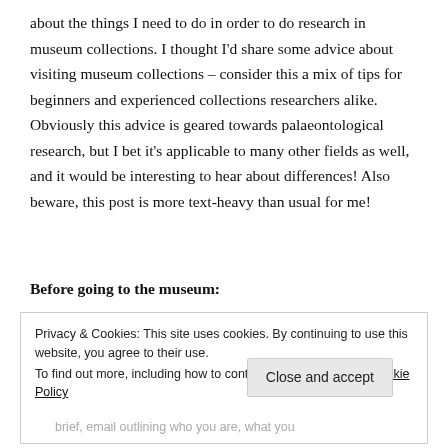about the things I need to do in order to do research in museum collections. I thought I'd share some advice about visiting museum collections – consider this a mix of tips for beginners and experienced collections researchers alike. Obviously this advice is geared towards palaeontological research, but I bet it's applicable to many other fields as well, and it would be interesting to hear about differences! Also beware, this post is more text-heavy than usual for me!
Before going to the museum:
Privacy & Cookies: This site uses cookies. By continuing to use this website, you agree to their use.
To find out more, including how to control cookies, see here: Cookie Policy
Close and accept
brief, email outlining who you are, what you